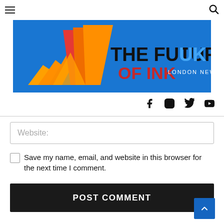≡   🔍
[Figure (logo): The Future of Ink UK – London News logo on blue background with orange/red geometric shapes]
[Figure (infographic): Social media icons: Facebook, Instagram, Twitter, YouTube]
Website:
Save my name, email, and website in this browser for the next time I comment.
POST COMMENT
[Figure (infographic): Back to top arrow button (blue)]